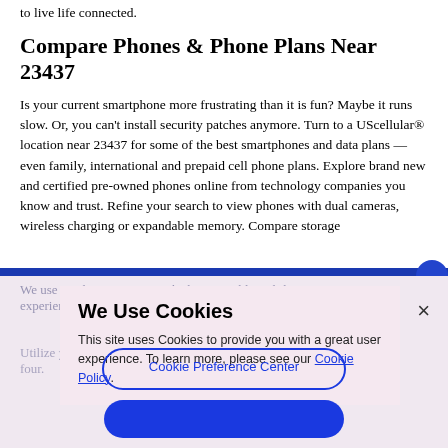to live life connected.
Compare Phones & Phone Plans Near 23437
Is your current smartphone more frustrating than it is fun? Maybe it runs slow. Or, you can't install security patches anymore. Turn to a UScellular® location near 23437 for some of the best smartphones and data plans — even family, international and prepaid cell phone plans. Explore brand new and certified pre-owned phones online from technology companies you know and trust. Refine your search to view phones with dual cameras, wireless charging or expandable memory. Compare storage
We Use Cookies
This site uses Cookies to provide you with a great user experience. To learn more, please see our Cookie Policy.
Cookie Preference Center